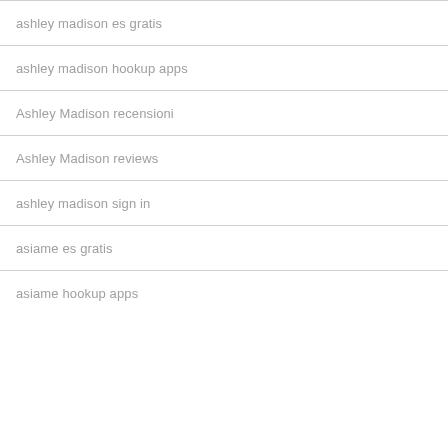ashley madison es gratis
ashley madison hookup apps
Ashley Madison recensioni
Ashley Madison reviews
ashley madison sign in
asiame es gratis
asiame hookup apps